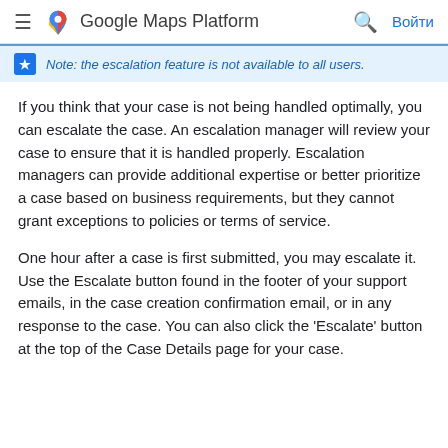Google Maps Platform  Войти
Note: the escalation feature is not available to all users.
If you think that your case is not being handled optimally, you can escalate the case. An escalation manager will review your case to ensure that it is handled properly. Escalation managers can provide additional expertise or better prioritize a case based on business requirements, but they cannot grant exceptions to policies or terms of service.
One hour after a case is first submitted, you may escalate it. Use the Escalate button found in the footer of your support emails, in the case creation confirmation email, or in any response to the case. You can also click the 'Escalate' button at the top of the Case Details page for your case.